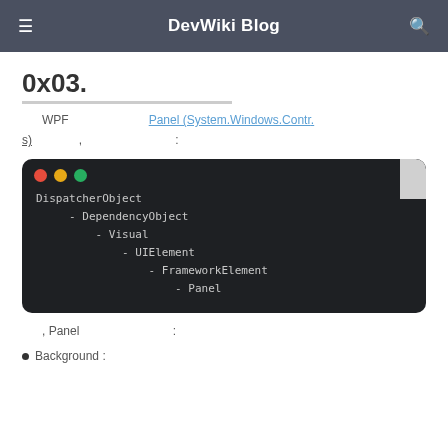DevWiki Blog
0x03.
WPF    Panel (System.Windows.Controls) ,  :
[Figure (screenshot): Dark terminal/code block showing class hierarchy: DispatcherObject - DependencyObject - Visual - UIElement - FrameworkElement - Panel]
, Panel :
Background :